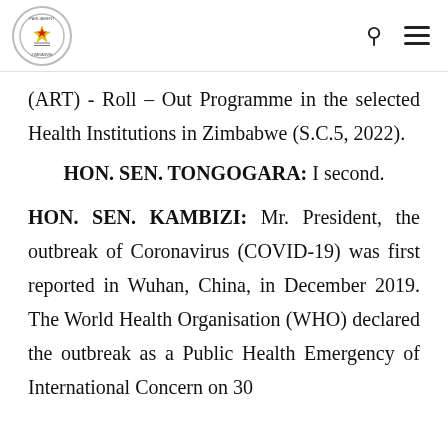Parliament of Zimbabwe – logo, search icon, menu icon
(ART) - Roll – Out Programme in the selected Health Institutions in Zimbabwe (S.C.5, 2022).
HON. SEN. TONGOGARA: I second.
HON. SEN. KAMBIZI: Mr. President, the outbreak of Coronavirus (COVID-19) was first reported in Wuhan, China, in December 2019. The World Health Organisation (WHO) declared the outbreak as a Public Health Emergency of International Concern on 30